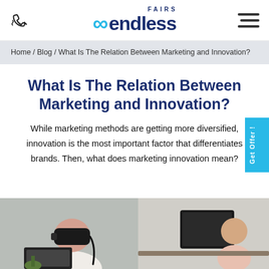endless FAIRS — navigation header with phone icon and hamburger menu
Home / Blog / What Is The Relation Between Marketing and Innovation?
What Is The Relation Between Marketing and Innovation?
While marketing methods are getting more diversified, innovation is the most important factor that differentiates brands. Then, what does marketing innovation mean?
[Figure (photo): Two people working at computers in an office setting; one person wearing a VR headset]